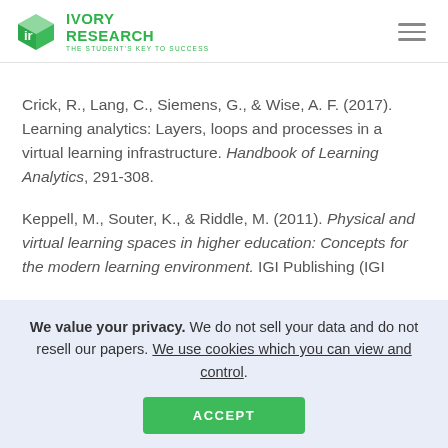IVORY RESEARCH — THE STUDENT'S KEY TO SUCCESS
Crick, R., Lang, C., Siemens, G., & Wise, A. F. (2017). Learning analytics: Layers, loops and processes in a virtual learning infrastructure. Handbook of Learning Analytics, 291-308.
Keppell, M., Souter, K., & Riddle, M. (2011). Physical and virtual learning spaces in higher education: Concepts for the modern learning environment. IGI Publishing (IGI
We value your privacy. We do not sell your data and do not resell our papers. We use cookies which you can view and control. ACCEPT